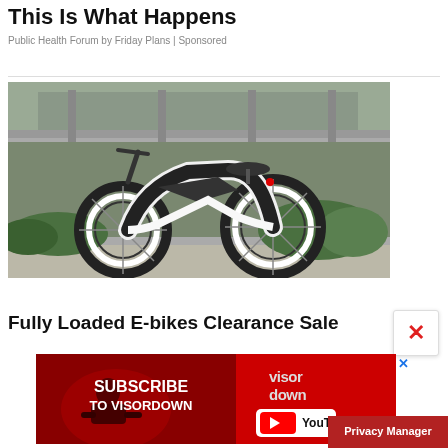This Is What Happens
Public Health Forum by Friday Plans | Sponsored
[Figure (photo): A futuristic white and black electric bicycle parked outdoors under a concrete bridge overpass, with vegetation in the background.]
Fully Loaded E-bikes Clearance Sale
[Figure (screenshot): Advertisement banner: red background with motorcyclist image, text 'SUBSCRIBE TO VISORDOWN' in white bold, Visordown logo, YouTube logo button.]